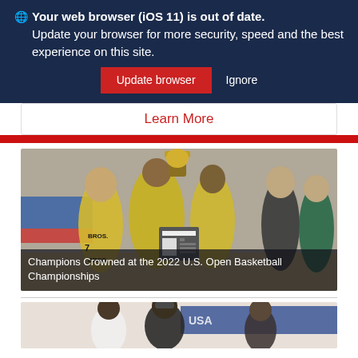🌐 Your web browser (iOS 11) is out of date. Update your browser for more security, speed and the best experience on this site. [Update browser] [Ignore]
Learn More
[Figure (photo): Youth basketball team in yellow jerseys holding up a trophy together, with a coach standing to the right. Players wear BROS jerseys. News article icon overlaid in center.]
Champions Crowned at the 2022 U.S. Open Basketball Championships
[Figure (photo): Basketball player celebrating, mouth open wide, wearing sports goggles. Partial view at bottom of page.]